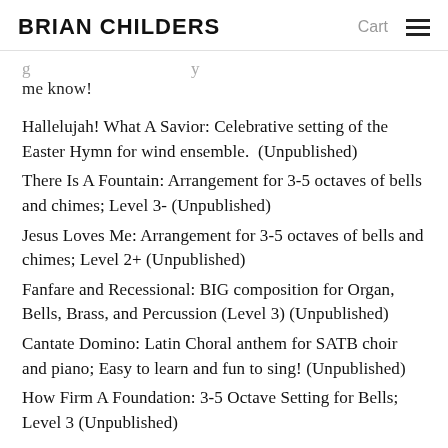BRIAN CHILDERS   Cart ☰
me know!
Hallelujah! What A Savior: Celebrative setting of the Easter Hymn for wind ensemble. (Unpublished)
There Is A Fountain: Arrangement for 3-5 octaves of bells and chimes; Level 3- (Unpublished)
Jesus Loves Me: Arrangement for 3-5 octaves of bells and chimes; Level 2+ (Unpublished)
Fanfare and Recessional: BIG composition for Organ, Bells, Brass, and Percussion (Level 3) (Unpublished)
Cantate Domino: Latin Choral anthem for SATB choir and piano; Easy to learn and fun to sing! (Unpublished)
How Firm A Foundation: 3-5 Octave Setting for Bells; Level 3 (Unpublished)